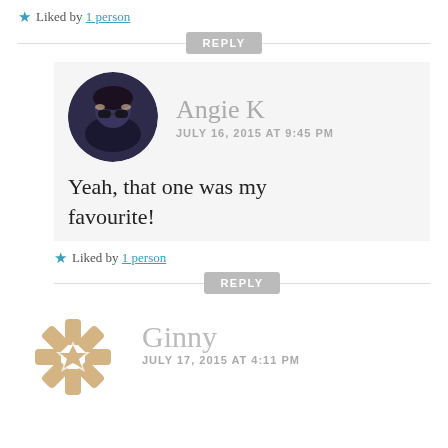★ Liked by 1 person
REPLY
Angie K
JULY 16, 2015 AT 9:45 PM
[Figure (photo): Circular avatar of Angie K, a person holding sunglasses against a dark background]
Yeah, that one was my favourite!
★ Liked by 1 person
REPLY
[Figure (logo): Ginny's avatar: a decorative snowflake/asterisk logo in tan/gold color]
Ginny
JULY 17, 2015 AT 4:11 PM